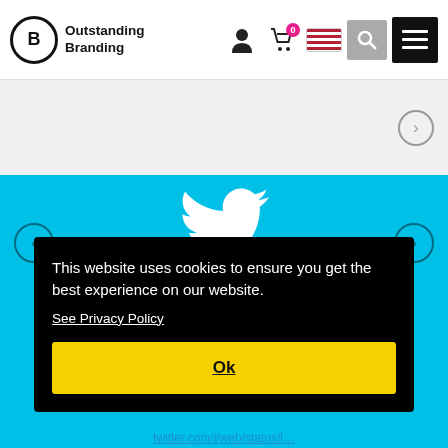[Figure (logo): Outstanding Branding logo with circled B and bold text]
[Figure (screenshot): Navigation header with user icon, cart (0), US flag, search, and menu buttons]
[Figure (screenshot): Gray slider bar with right arrow navigation button]
[Figure (screenshot): Twitter section with cyan background, white Twitter bird icon, left and right navigation arrows]
This website uses cookies to ensure you get the best experience on our website.
See Privacy Policy
Ok
twitter.com/i/web/status/l…